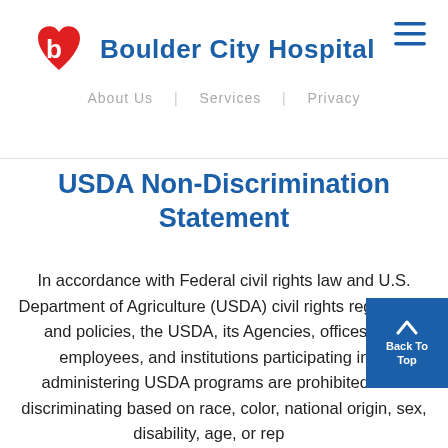Boulder City Hospital
About Us | Services | Privacy
USDA Non-Discrimination Statement
In accordance with Federal civil rights law and U.S. Department of Agriculture (USDA) civil rights regulations and policies, the USDA, its Agencies, offices, and employees, and institutions participating in or administering USDA programs are prohibited from discriminating based on race, color, national origin, sex, disability, age, or reprisal or retaliation for prior civil rights activity in any program or activity conducted or funded by U... Persons with disabilities who require alternative means of communication for program information